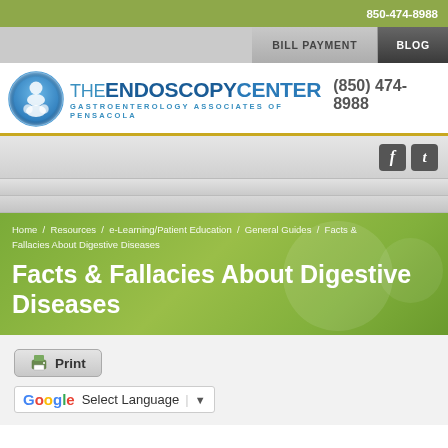850-474-8988
BILL PAYMENT / BLOG
[Figure (logo): The Endoscopy Center - Gastroenterology Associates of Pensacola logo with circular blue icon]
(850) 474-8988
[Figure (illustration): Facebook and Twitter social media icons]
Home / Resources / e-Learning/Patient Education / General Guides / Facts & Fallacies About Digestive Diseases
Facts & Fallacies About Digestive Diseases
Print
Select Language